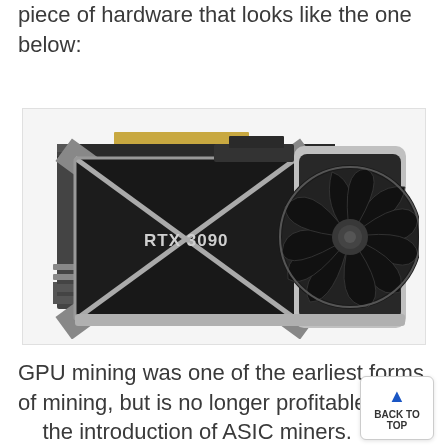piece of hardware that looks like the one below:
[Figure (photo): Photo of an NVIDIA RTX 3090 Founders Edition GPU graphics card, showing the black and silver design with an X-shaped heatsink cover and a large circular fan on the right side. The gold PCIe connector is visible at the top.]
GPU mining was one of the earliest forms of mining, but is no longer profitable due to the introduction of ASIC miners.